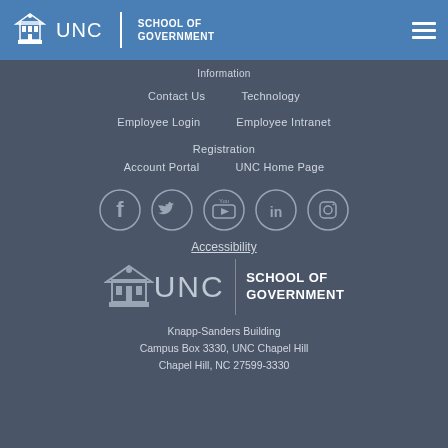UNC School of Government
Information
Contact Us
Technology
Employee Login
Employee Intranet
Registration
Account Portal
UNC Home Page
[Figure (infographic): Social media icons in circles: Facebook, Twitter, YouTube, LinkedIn, Instagram]
Accessibility
[Figure (logo): UNC School of Government logo - large footer version]
Knapp-Sanders Building
Campus Box 3330, UNC Chapel Hill
Chapel Hill, NC 27599-3330